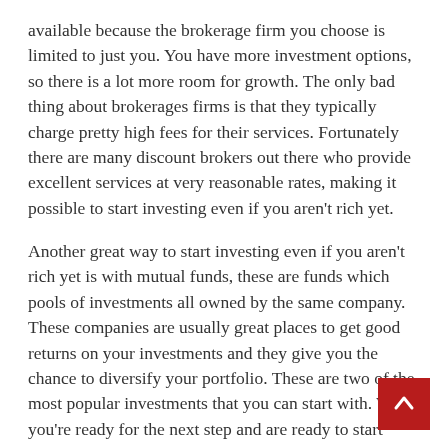available because the brokerage firm you choose is limited to just you. You have more investment options, so there is a lot more room for growth. The only bad thing about brokerages firms is that they typically charge pretty high fees for their services. Fortunately there are many discount brokers out there who provide excellent services at very reasonable rates, making it possible to start investing even if you aren't rich yet.
Another great way to start investing even if you aren't rich yet is with mutual funds, these are funds which pools of investments all owned by the same company. These companies are usually great places to get good returns on your investments and they give you the chance to diversify your portfolio. These are two of the most popular investments that you can start with. When you're ready for the next step and are ready to start investing in your own home, then by all means contact a reputable broker and see what they can offer you.